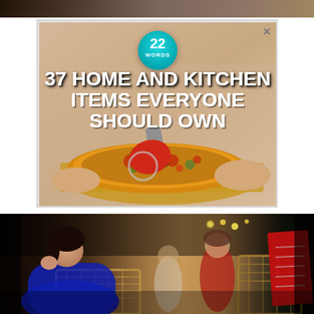[Figure (photo): Partial top strip of a photo, appears to be a close-up of some textured or patterned surface, dark tones]
[Figure (illustration): Advertisement banner for '22 Words' website showing '37 HOME AND KITCHEN ITEMS EVERYONE SHOULD OWN' with a person cutting pizza with a red pizza wheel cutter on a wooden board]
[Figure (photo): Outdoor cafe scene at night with a woman in a blue dress sitting in a wicker chair, another person in red partially visible, a red menu visible on the right side, and dark background with lights]